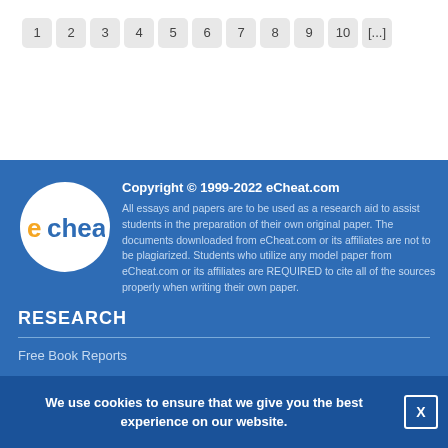1 2 3 4 5 6 7 8 9 10 [...]
[Figure (logo): eCheat.com logo — white circle with 'echeat' text in orange and blue]
Copyright © 1999-2022 eCheat.com
All essays and papers are to be used as a research aid to assist students in the preparation of their own original paper. The documents downloaded from eCheat.com or its affiliates are not to be plagiarized. Students who utilize any model paper from eCheat.com or its affiliates are REQUIRED to cite all of the sources properly when writing their own paper.
RESEARCH
Free Book Reports
Compare & Contrast Essays
Essay Examples
We use cookies to ensure that we give you the best experience on our website.